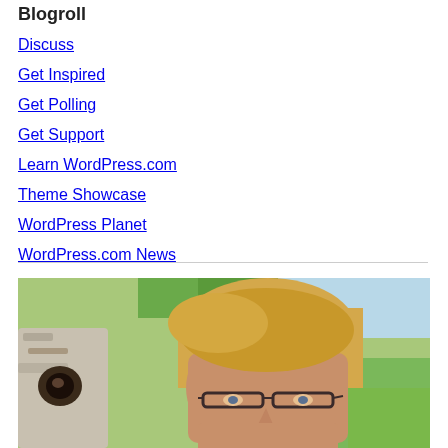Blogroll
Discuss
Get Inspired
Get Polling
Get Support
Learn WordPress.com
Theme Showcase
WordPress Planet
WordPress.com News
[Figure (photo): Close-up photo of a middle-aged person with short blonde hair and glasses, standing next to a birch tree trunk with a knot, outdoors with green grass and trees in the background.]